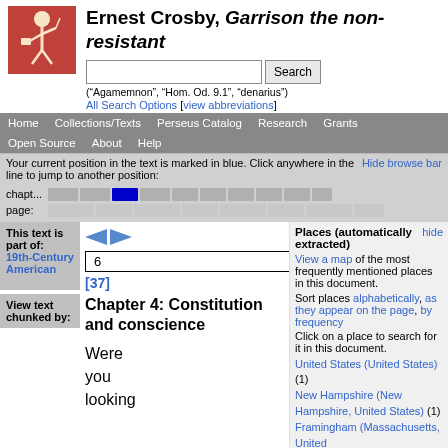Ernest Crosby, Garrison the non-resistant
[Figure (logo): Perseus Digital Library logo — white figure on red/terracotta background]
(“Agamemnon”, “Hom. Od. 9.1”, “denarius”)
All Search Options [view abbreviations]
Home | Collections/Texts | Perseus Catalog | Research | Grants | Open Source | About | Help
Your current position in the text is marked in blue. Click anywhere in the line to jump to another position:
Hide browse bar
chapt...
page:
This text is part of:
19th-Century American
6
[37]
Chapter 4: Constitution and conscience
Were
you
looking
View text chunked by:
Places (automatically extracted)
hide
View a map of the most frequently mentioned places in this document.
Sort places alphabetically, as they appear on the page, by frequency
Click on a place to search for it in this document.
United States (United States) (1)
New Hampshire (New Hampshire, United States) (1)
Framingham (Massachusetts, United
view abbreviations